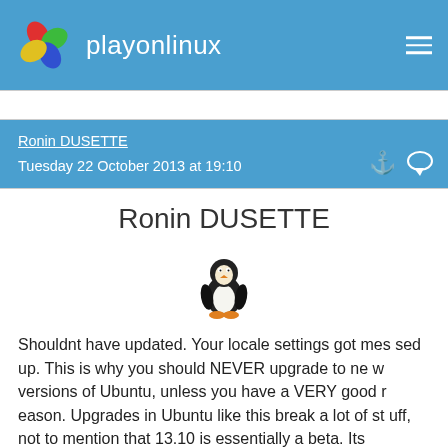playonlinux
Ronin DUSETTE
Tuesday 22 October 2013 at 19:10
Ronin DUSETTE
[Figure (illustration): Tux Linux penguin mascot icon]
Shouldnt have updated. Your locale settings got messed up. This is why you should NEVER upgrade to new versions of Ubuntu, unless you have a VERY good reason. Upgrades in Ubuntu like this break a lot of stuff, not to mention that 13.10 is essentially a beta. Its